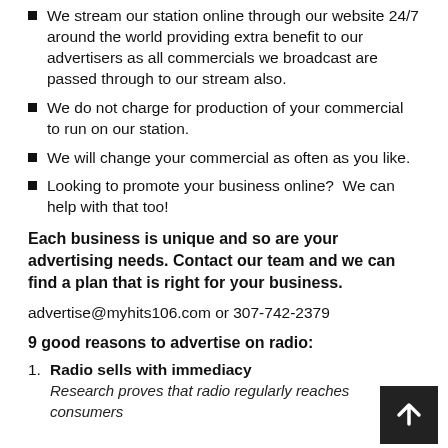We stream our station online through our website 24/7 around the world providing extra benefit to our advertisers as all commercials we broadcast are passed through to our stream also.
We do not charge for production of your commercial to run on our station.
We will change your commercial as often as you like.
Looking to promote your business online?  We can help with that too!
Each business is unique and so are your advertising needs. Contact our team and we can find a plan that is right for your business.
advertise@myhits106.com or 307-742-2379
9 good reasons to advertise on radio:
Radio sells with immediacy
Research proves that radio regularly reaches consumers